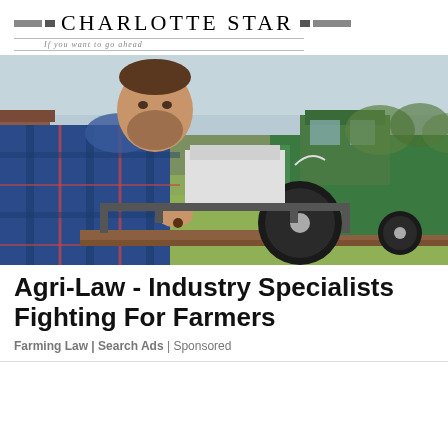Charlotte Star — If you want to go ahead
[Figure (photo): A farmer in a blue plaid shirt crouching in a field, with a green tractor and agricultural equipment visible in the background on a farm field.]
Agri-Law - Industry Specialists Fighting For Farmers
Farming Law | Search Ads | Sponsored